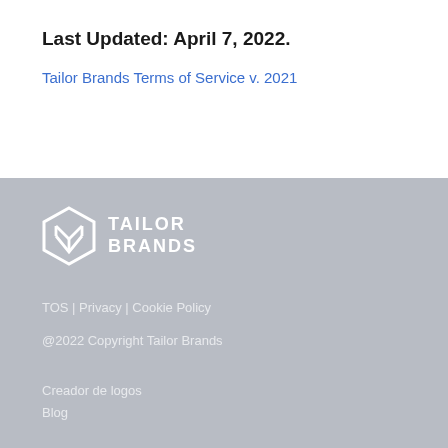Last Updated: April 7, 2022.
Tailor Brands Terms of Service v. 2021
[Figure (logo): Tailor Brands logo with geometric diamond/shield icon and text TAILOR BRANDS in white on grey background]
TOS | Privacy | Cookie Policy
@2022 Copyright Tailor Brands

Creador de logos
Blog